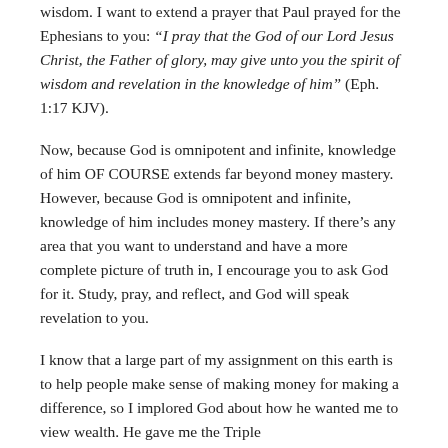wisdom. I want to extend a prayer that Paul prayed for the Ephesians to you: “I pray that the God of our Lord Jesus Christ, the Father of glory, may give unto you the spirit of wisdom and revelation in the knowledge of him” (Eph. 1:17 KJV).
Now, because God is omnipotent and infinite, knowledge of him OF COURSE extends far beyond money mastery. However, because God is omnipotent and infinite, knowledge of him includes money mastery. If there’s any area that you want to understand and have a more complete picture of truth in, I encourage you to ask God for it. Study, pray, and reflect, and God will speak revelation to you.
I know that a large part of my assignment on this earth is to help people make sense of making money for making a difference, so I implored God about how he wanted me to view wealth. He gave me the Triple